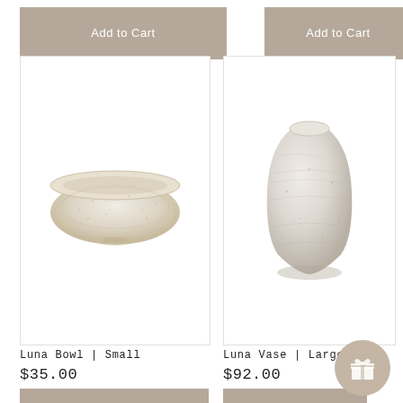[Figure (other): Add to Cart button (top-left) with tan/beige background]
[Figure (other): Add to Cart button (top-right) with tan/beige background]
[Figure (photo): Luna Bowl Small - small white/cream textured ceramic bowl, photographed on white background]
[Figure (photo): Luna Vase Large - white/grey textured large ceramic vase, photographed on white background]
Luna Bowl | Small
$35.00
Add to Cart
Luna Vase | Large
$92.00
Add to Cart
[Figure (other): Currency selector showing USD with US flag]
[Figure (other): Partial product card on bottom right, showing decorative tile/plate]
[Figure (other): Gift icon circle button at bottom right]